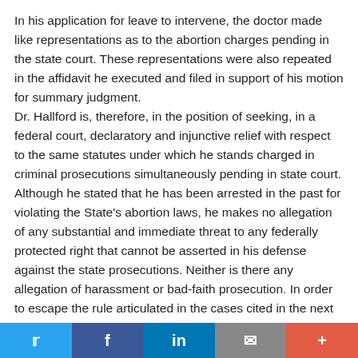In his application for leave to intervene, the doctor made like representations as to the abortion charges pending in the state court. These representations were also repeated in the affidavit he executed and filed in support of his motion for summary judgment. Dr. Hallford is, therefore, in the position of seeking, in a federal court, declaratory and injunctive relief with respect to the same statutes under which he stands charged in criminal prosecutions simultaneously pending in state court. Although he stated that he has been arrested in the past for violating the State's abortion laws, he makes no allegation of any substantial and immediate threat to any federally protected right that cannot be asserted in his defense against the state prosecutions. Neither is there any allegation of harassment or bad-faith prosecution. In order to escape the rule articulated in the cases cited in the next
Twitter | Facebook | LinkedIn | Email | +